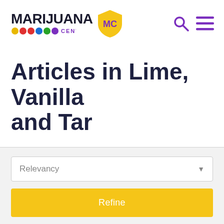[Figure (logo): Marijuana Central logo with shield emblem, colored dots, and purple 'CENTRAL' text]
Articles in Lime, Vanilla and Tar
Relevancy
Refine